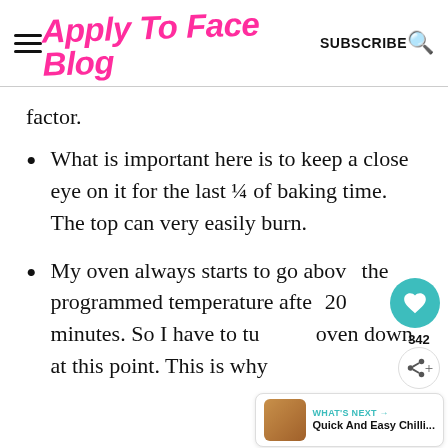Apply To Face Blog  SUBSCRIBE
factor.
What is important here is to keep a close eye on it for the last ¼ of baking time. The top can very easily burn.
My oven always starts to go above the programmed temperature after 20 minutes. So I have to turn the oven down at this point. This is why